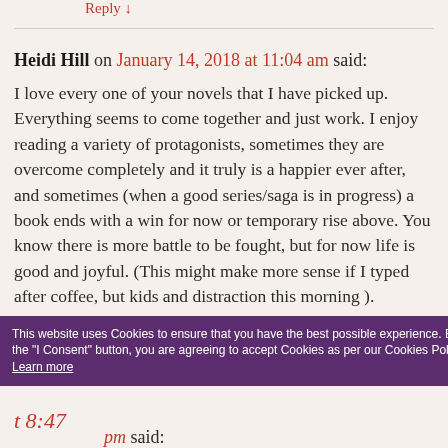Reply ↓
Heidi Hill on January 14, 2018 at 11:04 am said:
I love every one of your novels that I have picked up. Everything seems to come together and just work. I enjoy reading a variety of protagonists, sometimes they are overcome completely and it truly is a happier ever after, and sometimes (when a good series/saga is in progress) a book ends with a win for now or temporary rise above. You know there is more battle to be fought, but for now life is good and joyful. (This might make more sense if I typed after coffee, but kids and distraction this morning ).
This website uses Cookies to ensure that you have the best possible experience. By clicking the "I Consent" button, you are agreeing to accept Cookies as per our Cookies Policy. Learn more
8:47 pm said: